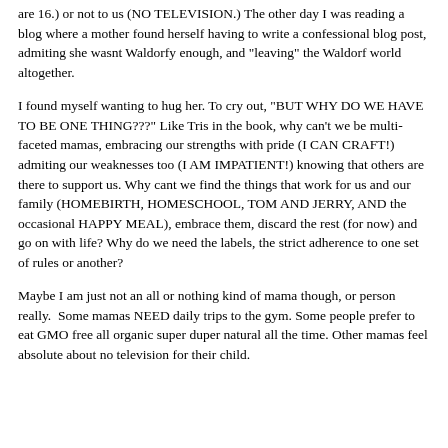are 16.) or not to us (NO TELEVISION.) The other day I was reading a blog where a mother found herself having to write a confessional blog post, admiting she wasnt Waldorfy enough, and "leaving" the Waldorf world altogether.
I found myself wanting to hug her. To cry out, "BUT WHY DO WE HAVE TO BE ONE THING???" Like Tris in the book, why can't we be multi-faceted mamas, embracing our strengths with pride (I CAN CRAFT!) admiting our weaknesses too (I AM IMPATIENT!) knowing that others are there to support us. Why cant we find the things that work for us and our family (HOMEBIRTH, HOMESCHOOL, TOM AND JERRY, AND the occasional HAPPY MEAL), embrace them, discard the rest (for now) and go on with life? Why do we need the labels, the strict adherence to one set of rules or another?
Maybe I am just not an all or nothing kind of mama though, or person really.  Some mamas NEED daily trips to the gym. Some people prefer to eat GMO free all organic super duper natural all the time. Other mamas feel absolute about no television for their child.